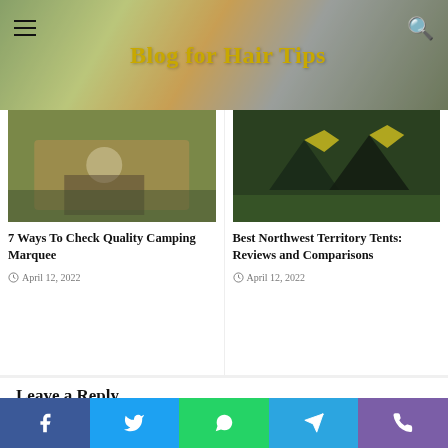Blog for Hair Tips
[Figure (photo): Left card image showing an indoor event space or marquee with warm lighting and plants]
7 Ways To Check Quality Camping Marquee
April 12, 2022
[Figure (photo): Right card image showing dark green camping tents on grass with yellow tent pegs]
Best Northwest Territory Tents: Reviews and Comparisons
April 12, 2022
Leave a Reply
Your email address will not be published. Required fields are marked *